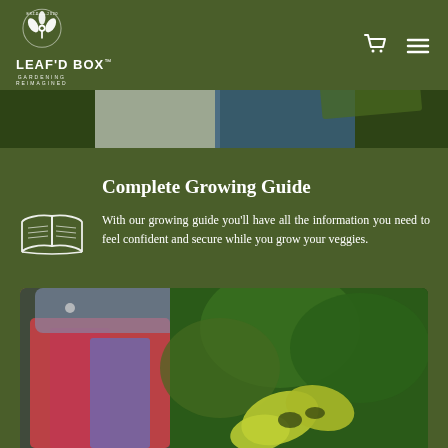LEAF'D BOX™ — GARDENING REIMAGINED
[Figure (photo): Two people gardening, partially visible from waist down, with a green sign in background, overlaid with dark green tint]
Complete Growing Guide
With our growing guide you'll have all the information you need to feel confident and secure while you grow your veggies.
[Figure (photo): Close-up photo of a person in colorful clothing next to green plants with yellow-green leaves and dark spots]